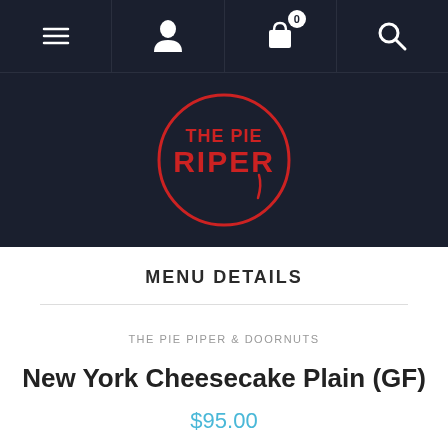[Figure (screenshot): Navigation bar with menu (hamburger), user/account, shopping cart with badge showing 0, and search icons on dark navy background]
[Figure (logo): The Pie Piper circular logo in red on dark navy background, text reads THE PIE PIPER and RIPER in stylized lettering]
MENU DETAILS
THE PIE PIPER & DOORNUTS
New York Cheesecake Plain (GF)
$95.00